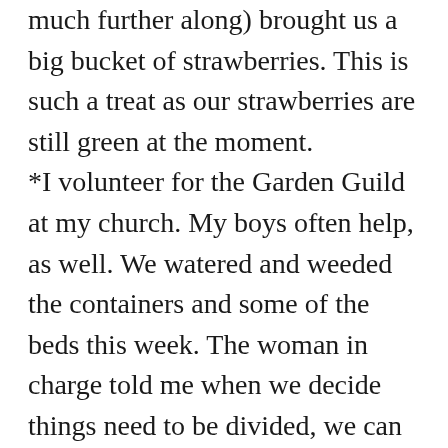much further along) brought us a big bucket of strawberries. This is such a treat as our strawberries are still green at the moment. *I volunteer for the Garden Guild at my church. My boys often help, as well. We watered and weeded the containers and some of the beds this week. The woman in charge told me when we decide things need to be divided, we can take some home. I enjoy working in this beautiful old